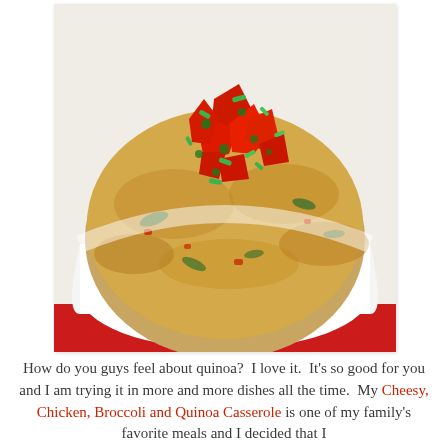[Figure (photo): Close-up photo of a casserole dish (white bowl on red surface) filled with a cheesy quinoa casserole topped with diced red bell peppers and chopped green onions/scallions.]
How do you guys feel about quinoa?  I love it.  It's so good for you and I am trying it in more and more dishes all the time.  My Cheesy, Chicken, Broccoli and Quinoa Casserole is one of my family's favorite meals and I decided that I